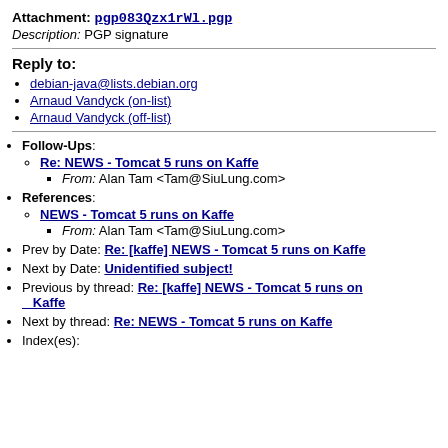Attachment: pgp083Qzx1rWl.pgp
Description: PGP signature
Reply to:
debian-java@lists.debian.org
Arnaud Vandyck (on-list)
Arnaud Vandyck (off-list)
Follow-Ups: Re: NEWS - Tomcat 5 runs on Kaffe
From: Alan Tam <Tam@SiuLung.com>
References: NEWS - Tomcat 5 runs on Kaffe
From: Alan Tam <Tam@SiuLung.com>
Prev by Date: Re: [kaffe] NEWS - Tomcat 5 runs on Kaffe
Next by Date: Unidentified subject!
Previous by thread: Re: [kaffe] NEWS - Tomcat 5 runs on Kaffe
Next by thread: Re: NEWS - Tomcat 5 runs on Kaffe
Index(es):